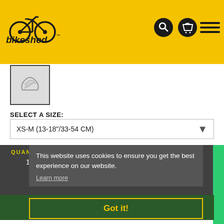[Figure (logo): Bikeshed logo on yellow header background with search, cart, and hamburger menu icons]
[Figure (photo): Small product thumbnail image showing a bicycle helmet or similar product on light grey background]
SELECT A SIZE:
XS-M (13-18"/33-54 CM)
QUANTITY:
1
This website uses cookies to ensure you get the best experience on our website.
Learn more
Got it!
ADD TO BASKET
Part Number: 582184    GTIN/UPC: 601842158081